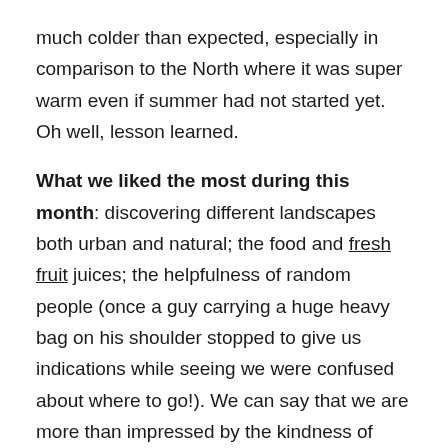much colder than expected, especially in comparison to the North where it was super warm even if summer had not started yet. Oh well, lesson learned.
What we liked the most during this month: discovering different landscapes both urban and natural; the food and fresh fruit juices; the helpfulness of random people (once a guy carrying a huge heavy bag on his shoulder stopped to give us indications while seeing we were confused about where to go!). We can say that we are more than impressed by the kindness of regular people.
What we liked the least during this month: observing the very visible contrast between social layers; in some places the sellers were quite aggressive in their approach; that everything is so far away, limiting the